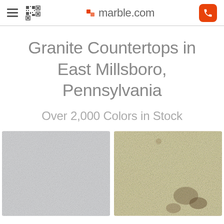marble.com
Granite Countertops in East Millsboro, Pennsylvania
Over 2,000 Colors in Stock
[Figure (photo): Light grey/white granite countertop surface texture closeup]
[Figure (photo): Beige/cream granite countertop with brown mineral flecks texture closeup]